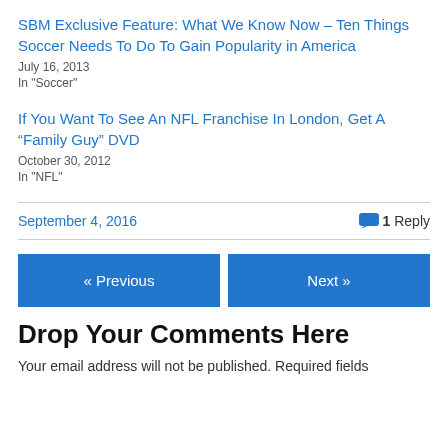SBM Exclusive Feature: What We Know Now – Ten Things Soccer Needs To Do To Gain Popularity in America
July 16, 2013
In "Soccer"
If You Want To See An NFL Franchise In London, Get A “Family Guy” DVD
October 30, 2012
In "NFL"
September 4, 2016
1 Reply
« Previous
Next »
Drop Your Comments Here
Your email address will not be published. Required fields